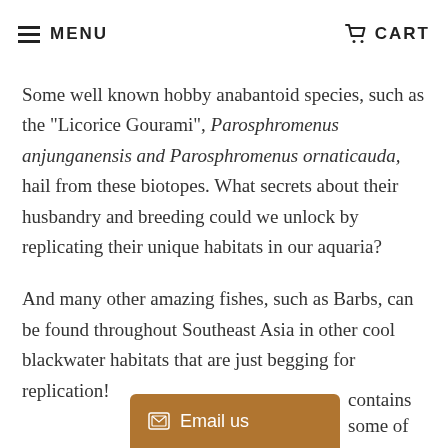MENU   CART
Some well known hobby anabantoid species, such as the "Licorice Gourami", Parosphromenus anjunganensis and Parosphromenus ornaticauda, hail from these biotopes. What secrets about their husbandry and breeding could we unlock by replicating their unique habitats in our aquaria?
And many other amazing fishes, such as Barbs, can be found throughout Southeast Asia in other cool blackwater habitats that are just begging for replication!
Email us
t Asia contains some of